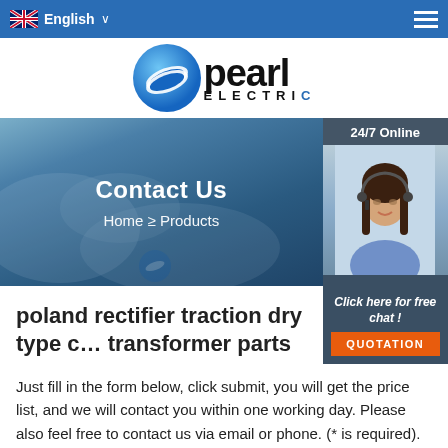English
[Figure (logo): Pearl Electric logo with blue globe and stylized PE letters, bold 'pearl ELECTRIC' text]
Contact Us
Home ≥ Products
[Figure (photo): 24/7 Online customer service representative - woman with headset smiling, Click here for free chat!]
poland rectifier traction dry type c… transformer parts
Just fill in the form below, click submit, you will get the price list, and we will contact you within one working day. Please also feel free to contact us via email or phone. (* is required).